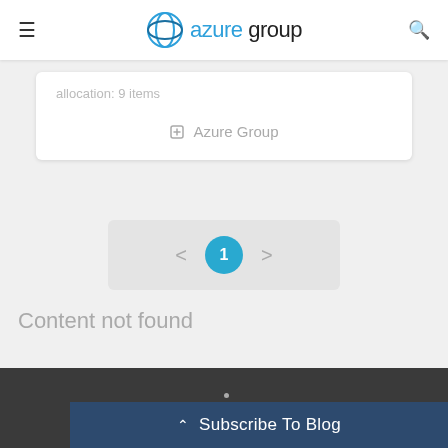azure group
allocation: 9 items
Azure Group
1
Content not found
Subscribe To Blog